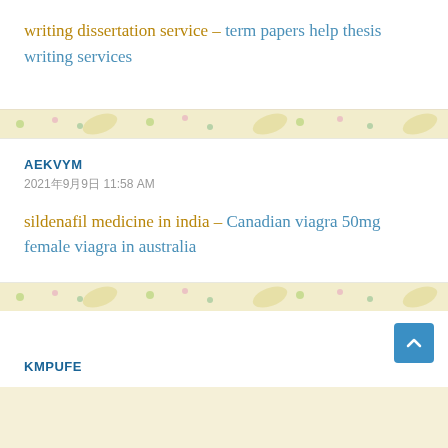writing dissertation service – term papers help thesis writing services
AEKVYM
2021年9月9日 11:58 AM
sildenafil medicine in india – Canadian viagra 50mg female viagra in australia
KMPUFE